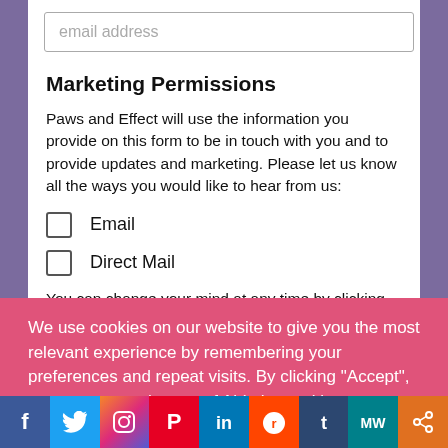email address
Marketing Permissions
Paws and Effect will use the information you provide on this form to be in touch with you and to provide updates and marketing. Please let us know all the ways you would like to hear from us:
Email
Direct Mail
You can change your mind at any time by clicking the unsubscribe link in the footer of any email you receive from us, or by contacting us at advice@paws-and-effect...
We use cookies on our website to give you the most relevant experience by remembering your preferences and repeat visits. By clicking “Accept”, you consent to the use of ALL the cookies.
Cookie settings   ACCEPT